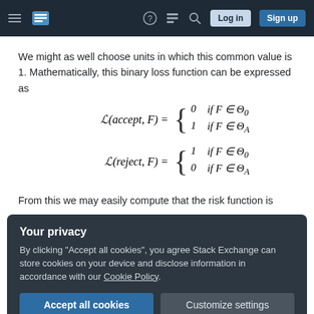Stack Exchange navigation bar with hamburger menu, logo, help, chat, search, Log in, Sign up
We might as well choose units in which this common value is 1. Mathematically, this binary loss function can be expressed as
From this we may easily compute that the risk function is
Your privacy
By clicking "Accept all cookies", you agree Stack Exchange can store cookies on your device and disclose information in accordance with our Cookie Policy.
Accept all cookies   Customize settings
the notation.)